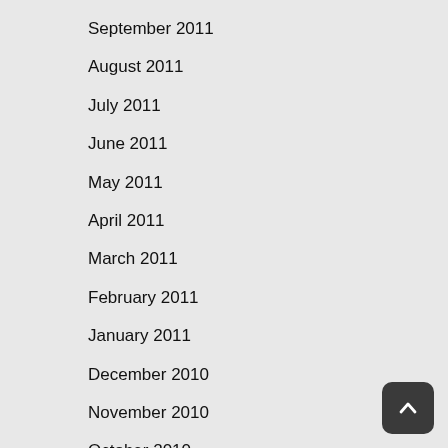September 2011
August 2011
July 2011
June 2011
May 2011
April 2011
March 2011
February 2011
January 2011
December 2010
November 2010
October 2010
September 2010
August 2010
July 2010
June 2010
May 2010